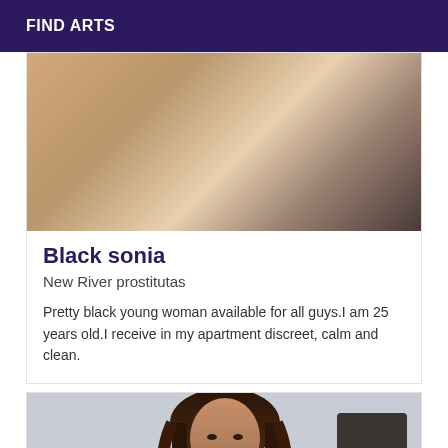FIND ARTS
[Figure (photo): Partial photo of a person, showing legs and a sparkly high-heeled shoe on a light background]
Black sonia
New River prostitutas
Pretty black young woman available for all guys.I am 25 years old.I receive in my apartment discreet, calm and clean.
[Figure (photo): Photo of a young woman with long dark hair and red lips, wearing dark clothing, in a bathroom setting]